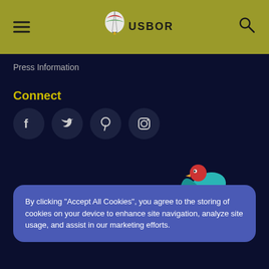USBORNE
Press Information
Connect
[Figure (logo): Four social media icon circles: Facebook, Twitter, Pinterest, Instagram]
[Figure (illustration): Be Curious. text in cursive script with a colorful bird illustration on a dark navy background]
By clicking “Accept All Cookies”, you agree to the storing of cookies on your device to enhance site navigation, analyze site usage, and assist in our marketing efforts.